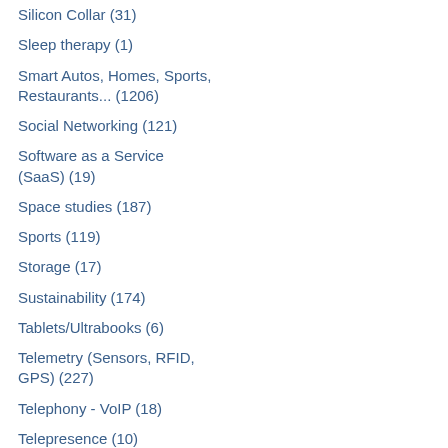Silicon Collar (31)
Sleep therapy (1)
Smart Autos, Homes, Sports, Restaurants... (1206)
Social Networking (121)
Software as a Service (SaaS) (19)
Space studies (187)
Sports (119)
Storage (17)
Sustainability (174)
Tablets/Ultrabooks (6)
Telemetry (Sensors, RFID, GPS) (227)
Telephony - VoIP (18)
Telepresence (10)
Television (6)
The Digital Enterprise book (3)
The New Polymath (41)
The New Technology Elite (48)